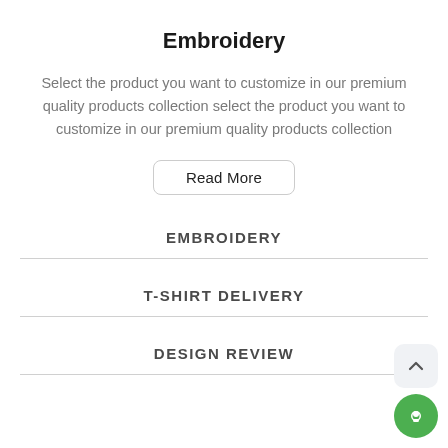Embroidery
Select the product you want to customize in our premium quality products collection select the product you want to customize in our premium quality products collection
Read More
EMBROIDERY
T-SHIRT DELIVERY
DESIGN REVIEW